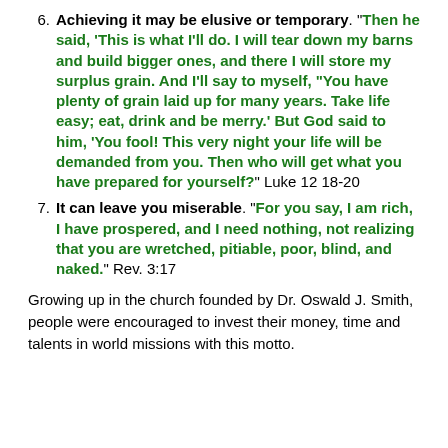6. Achieving it may be elusive or temporary. "Then he said, 'This is what I'll do. I will tear down my barns and build bigger ones, and there I will store my surplus grain. And I'll say to myself, "You have plenty of grain laid up for many years. Take life easy; eat, drink and be merry.' But God said to him, 'You fool! This very night your life will be demanded from you. Then who will get what you have prepared for yourself?" Luke 12 18-20
7. It can leave you miserable. "For you say, I am rich, I have prospered, and I need nothing, not realizing that you are wretched, pitiable, poor, blind, and naked." Rev. 3:17
Growing up in the church founded by Dr. Oswald J. Smith, people were encouraged to invest their money, time and talents in world missions with this motto.